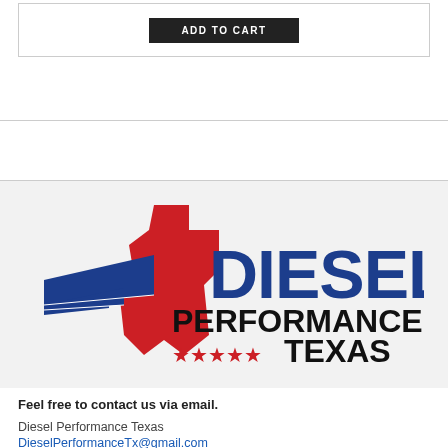[Figure (other): Add to Cart button — black rectangular button with white uppercase text]
[Figure (logo): Diesel Performance Texas logo — blue wings with red Texas state silhouette, blue text DIESEL and black text PERFORMANCE, red stars and black TEXAS text]
Feel free to contact us via email.
Diesel Performance Texas
DieselPerformanceTx@gmail.com